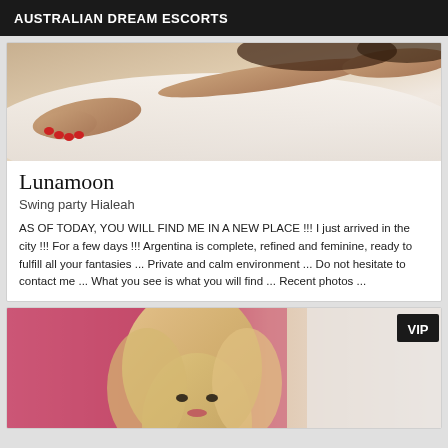AUSTRALIAN DREAM ESCORTS
[Figure (photo): Photo of a woman lying on white bedding, showing arms and hands with red nails and a bracelet]
Lunamoon
Swing party Hialeah
AS OF TODAY, YOU WILL FIND ME IN A NEW PLACE !!! I just arrived in the city !!! For a few days !!! Argentina is complete, refined and feminine, ready to fulfill all your fantasies ... Private and calm environment ... Do not hesitate to contact me ... What you see is what you will find ... Recent photos ...
[Figure (photo): Photo of a blonde woman, with VIP badge overlay in top-right corner]